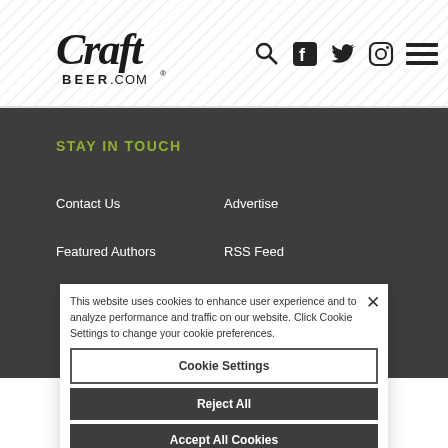[Figure (logo): CraftBeer.com logo in top left of header]
[Figure (other): Header navigation icons: search, Facebook, Twitter, Instagram, and hamburger menu]
STAY IN TOUCH
Contact Us
Advertise
Featured Authors
RSS Feed
This website uses cookies to enhance user experience and to analyze performance and traffic on our website. Click Cookie Settings to change your cookie preferences.
Cookie Settings
Reject All
Accept All Cookies